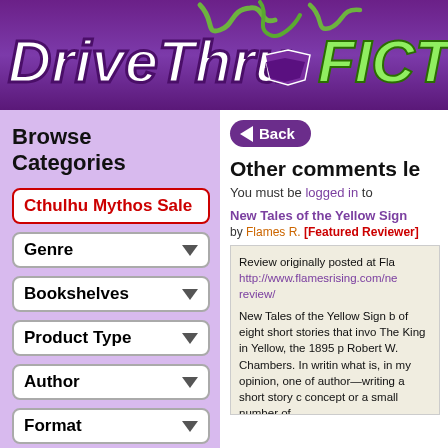[Figure (logo): DriveThruFICTION website logo with purple background and green tentacle decorations]
Browse Categories
Cthulhu Mythos Sale
Genre
Bookshelves
Product Type
Author
Format
Back
Other comments le
You must be logged in to
New Tales of the Yellow Sign
by Flames R. [Featured Reviewer]
Review originally posted at Fla http://www.flamesrising.com/ne review/ New Tales of the Yellow Sign b of eight short stories that invo The King in Yellow, the 1895 p Robert W. Chambers. In writin what is, in my opinion, one of author—writing a short story c concept or a small number of